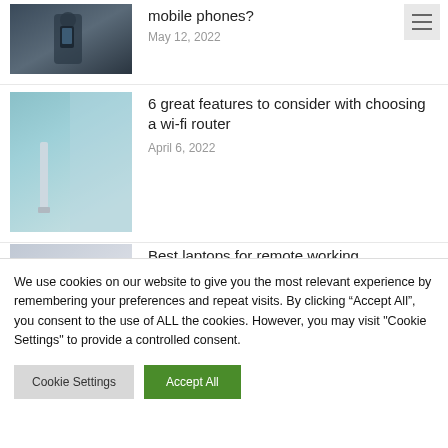[Figure (photo): Person holding a mobile phone, partially cropped at top]
mobile phones?
May 12, 2022
[Figure (photo): Close-up of a wi-fi router or device near a window with blurred background]
6 great features to consider with choosing a wi-fi router
April 6, 2022
[Figure (photo): Laptop computer open showing a scenic desktop wallpaper]
Best laptops for remote working
March 9, 2022
We use cookies on our website to give you the most relevant experience by remembering your preferences and repeat visits. By clicking “Accept All”, you consent to the use of ALL the cookies. However, you may visit "Cookie Settings" to provide a controlled consent.